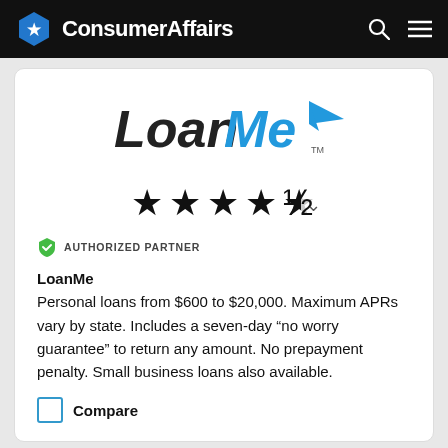ConsumerAffairs
[Figure (logo): LoanMe logo with italic dark 'Loan' text and blue 'Me' with a blue paper airplane icon and TM mark]
[Figure (other): 4.5 out of 5 stars rating with a chevron dropdown]
AUTHORIZED PARTNER
LoanMe
Personal loans from $600 to $20,000. Maximum APRs vary by state. Includes a seven-day “no worry guarantee” to return any amount. No prepayment penalty. Small business loans also available.
Compare